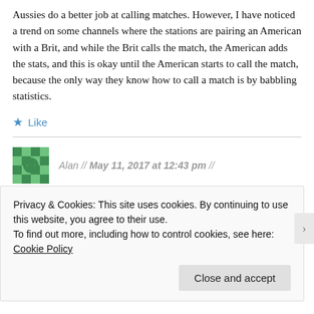Aussies do a better job at calling matches. However, I have noticed a trend on some channels where the stations are pairing an American with a Brit, and while the Brit calls the match, the American adds the stats, and this is okay until the American starts to call the match, because the only way they know how to call a match is by babbling statistics.
★ Like
Alan // May 11, 2017 at 12:43 pm //
Privacy & Cookies: This site uses cookies. By continuing to use this website, you agree to their use.
To find out more, including how to control cookies, see here: Cookie Policy